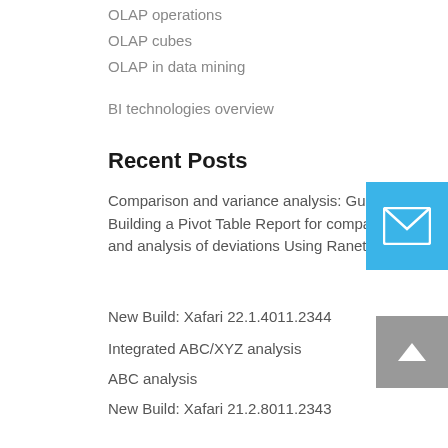OLAP operations
OLAP cubes
OLAP in data mining
BI technologies overview
Recent Posts
Comparison and variance analysis: Guide on Building a Pivot Table Report for comparison and analysis of deviations Using Ranet OLAP
New Build: Xafari 22.1.4011.2344
Integrated ABC/XYZ analysis
ABC analysis
New Build: Xafari 21.2.8011.2343
Cross-Platform OLAP Server Tools
Great news: new Ranet OLAP 4.1 is released
Report Templates – How They Help the End User